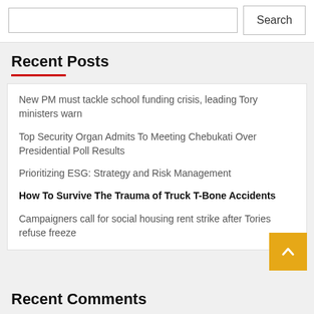Search
Recent Posts
New PM must tackle school funding crisis, leading Tory ministers warn
Top Security Organ Admits To Meeting Chebukati Over Presidential Poll Results
Prioritizing ESG: Strategy and Risk Management
How To Survive The Trauma of Truck T-Bone Accidents
Campaigners call for social housing rent strike after Tories refuse freeze
Recent Comments